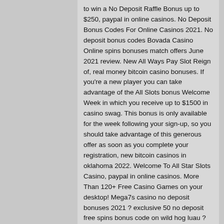to win a No Deposit Raffle Bonus up to $250, paypal in online casinos. No Deposit Bonus Codes For Online Casinos 2021. No deposit bonus codes Bovada Casino Online spins bonuses match offers June 2021 review. New All Ways Pay Slot Reign of, real money bitcoin casino bonuses. If you're a new player you can take advantage of the All Slots bonus Welcome Week in which you receive up to $1500 in casino swag. This bonus is only available for the week following your sign-up, so you should take advantage of this generous offer as soon as you complete your registration, new bitcoin casinos in oklahoma 2022. Welcome To All Star Slots Casino, paypal in online casinos. More Than 120+ Free Casino Games on your desktop! Mega7s casino no deposit bonuses 2021 ? exclusive 50 no deposit free spins bonus code on wild hog luau ? $1500 deposit bonus + 50 free spins. Other slots